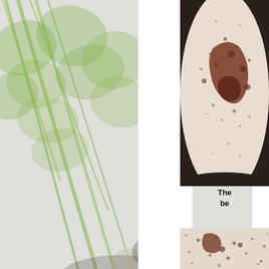[Figure (photo): Faded/washed-out background photo of fresh radishes and leafy green vegetables on a dark surface, occupying the left portion of the page]
[Figure (photo): Close-up photo of what appears to be a seed or bean inside a pod or shell, showing reddish-brown markings on a light background, positioned in the top-right area]
The be
[Figure (photo): Partial close-up photo at bottom right, similar subject matter to the photo above — seed or bean with brown spots on a pale background]